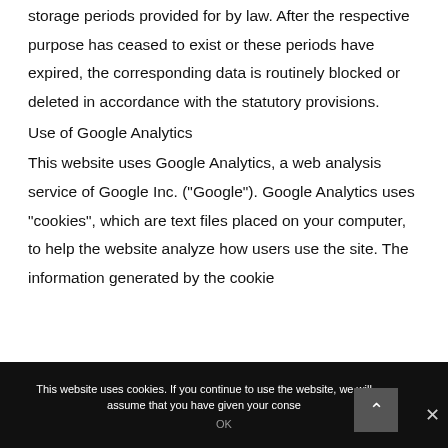storage periods provided for by law. After the respective purpose has ceased to exist or these periods have expired, the corresponding data is routinely blocked or deleted in accordance with the statutory provisions.
Use of Google Analytics
This website uses Google Analytics, a web analysis service of Google Inc. ("Google"). Google Analytics uses "cookies", which are text files placed on your computer, to help the website analyze how users use the site. The information generated by the cookie
This website uses cookies. If you continue to use the website, we will assume that you have given your conse
OK